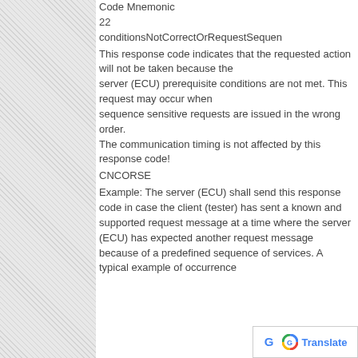Code Mnemonic
22
conditionsNotCorrectOrRequestSequen
This response code indicates that the requested action will not be taken because the server (ECU) prerequisite conditions are not met. This request may occur when sequence sensitive requests are issued in the wrong order. The communication timing is not affected by this response code!
CNCORSE
Example: The server (ECU) shall send this response code in case the client (tester) has sent a known and supported request message at a time where the server (ECU) has expected another request message because of a predefined sequence of services. A typical example of occurrence